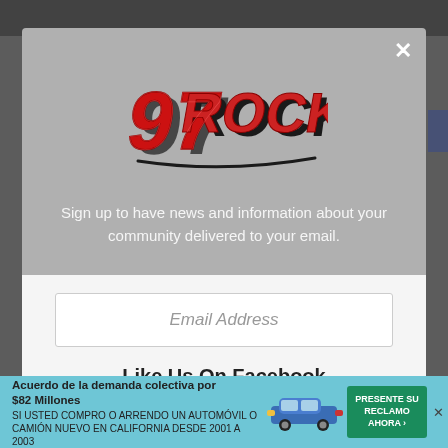[Figure (screenshot): 97 Rock radio station website screenshot background with dark header bar and gray content area]
[Figure (logo): 97 Rock radio station logo — stylized red and black graffiti-style lettering reading '97 ROCK']
Sign up to have news and information about your community delivered to your email.
Email Address
Like Us On Facebook
[Figure (infographic): Advertisement banner: 'Acuerdo de la demanda colectiva por $82 Millones — SI USTED COMPRO O ARRENDO UN AUTOMÓVIL O CAMIÓN NUEVO EN CALIFORNIA DESDE 2001 A 2003' with car image and green 'PRESENTE SU RECLAMO AHORA' button]